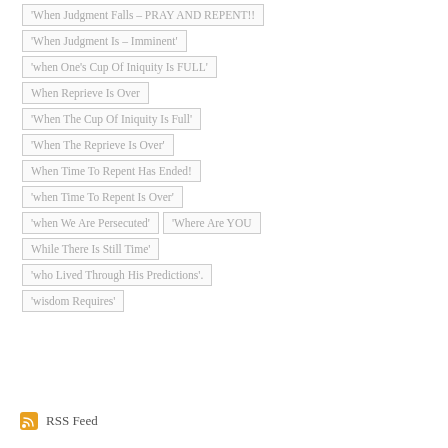'When Judgment Falls – PRAY AND REPENT!!
'When Judgment Is – Imminent'
'when One's Cup Of Iniquity Is FULL'
When Reprieve Is Over
'When The Cup Of Iniquity Is Full'
'When The Reprieve Is Over'
When Time To Repent Has Ended!
'when Time To Repent Is Over'
'when We Are Persecuted'
'Where Are YOU
While There Is Still Time'
'who Lived Through His Predictions'.
'wisdom Requires'
RSS Feed